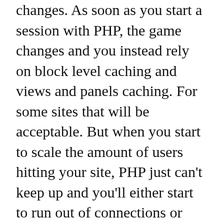changes. As soon as you start a session with PHP, the game changes and you instead rely on block level caching and views and panels caching. For some sites that will be acceptable. But when you start to scale the amount of users hitting your site, PHP just can't keep up and you'll either start to run out of connections or max out your memory.
Read more
DBTNG Migrator - Welcome to warp speed!